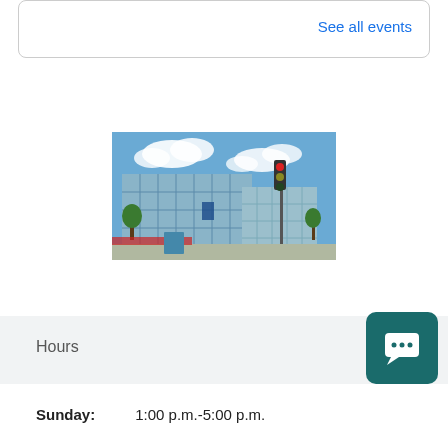See all events
[Figure (photo): Exterior photo of a modern library or civic building with glass facade, blue sky with clouds, and a red traffic light on a pole in front.]
Hours
Sunday: 1:00 p.m.-5:00 p.m.